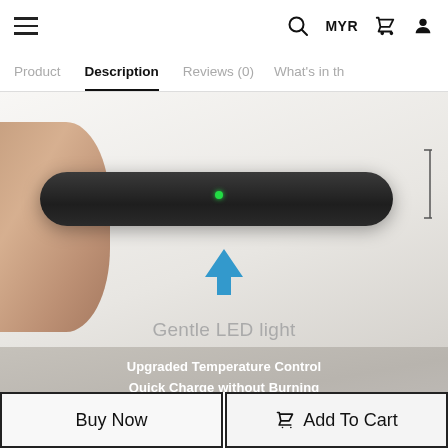≡  🔍  MYR  🛒  👤
Product | Description | Reviews (0) | What's in th
[Figure (photo): A hand holding a thin circular black wireless charging pad from the side, showing a small green LED indicator on the edge. An annotated blue upward arrow points to the LED with the label 'Gentle LED light'. A measurement bracket appears on the right side. Below, a banner shows a beige/grey background with the charger partially visible and text overlay.]
Gentle LED light
Upgraded Temperature Control
Quick Charge without Burning
Buy Now
🛒  Add To Cart